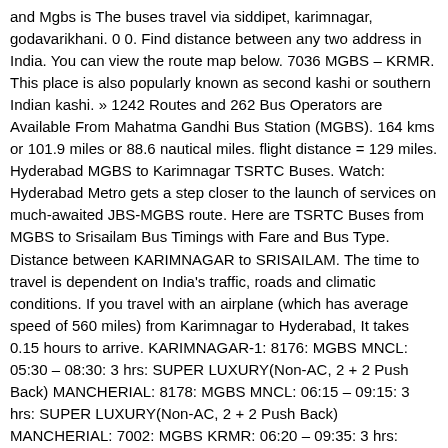and Mgbs is The buses travel via siddipet, karimnagar, godavarikhani. 0 0. Find distance between any two address in India. You can view the route map below. 7036 MGBS – KRMR. This place is also popularly known as second kashi or southern Indian kashi. » 1242 Routes and 262 Bus Operators are Available From Mahatma Gandhi Bus Station (MGBS). 164 kms or 101.9 miles or 88.6 nautical miles. flight distance = 129 miles. Hyderabad MGBS to Karimnagar TSRTC Buses. Watch: Hyderabad Metro gets a step closer to the launch of services on much-awaited JBS-MGBS route. Here are TSRTC Buses from MGBS to Srisailam Bus Timings with Fare and Bus Type. Distance between KARIMNAGAR to SRISAILAM. The time to travel is dependent on India's traffic, roads and climatic conditions. If you travel with an airplane (which has average speed of 560 miles) from Karimnagar to Hyderabad, It takes 0.15 hours to arrive. KARIMNAGAR-1: 8176: MGBS MNCL: 05:30 – 08:30: 3 hrs: SUPER LUXURY(Non-AC, 2 + 2 Push Back) MANCHERIAL: 8178: MGBS MNCL: 06:15 – 09:15: 3 hrs: SUPER LUXURY(Non-AC, 2 + 2 Push Back) MANCHERIAL: 7002: MGBS KRMR: 06:20 – 09:35: 3 hrs: SUPER LUXURY(Non-AC, 2 + 2 Push Back) KARIMNAGAR-1: 7356: MGBS JGTL: 06:30 – 09:40: 3 hrs: SUPER LUXURY(Non-AC, 2 + 2 Push Back) JAGITYAL: 8180: MGBS ... Your email address will not be published. Planner; Trip Cost; Itinerary. Hyderabad to Karimnagar Bus Timings. 04:00. Mahatma Gandhi bus station popularly known as Imlibun bus station (Imlibun meaning a forest of tamarind trees), is a bus station in the southern part of Hyderabad, India. This bus terminus is situated at the Imlibun